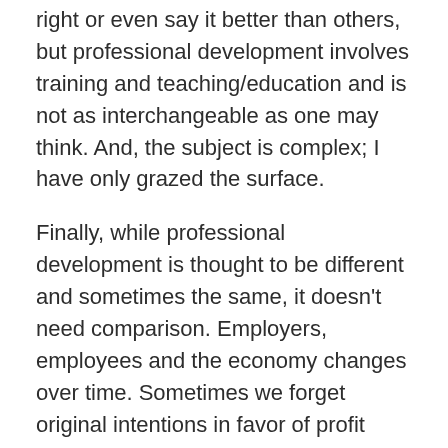right or even say it better than others, but professional development involves training and teaching/education and is not as interchangeable as one may think. And, the subject is complex; I have only grazed the surface.
Finally, while professional development is thought to be different and sometimes the same, it doesn't need comparison. Employers, employees and the economy changes over time. Sometimes we forget original intentions in favor of profit margins. Some might say we've forgotten the very people we hire to make our company or organization what it is today. We changed the definition when it didn't suit our pocketbook or actions. Many English words have interchangeable definitions and more; however, there are